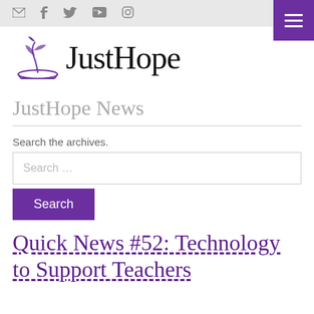[Figure (logo): JustHope organization logo with plant/sprout icon and organization name]
JustHope News
Search the archives.
Quick News #52: Technology to Support Teachers